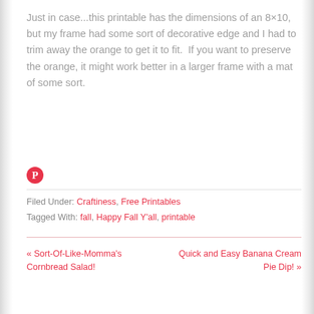Just in case...this printable has the dimensions of an 8×10, but my frame had some sort of decorative edge and I had to trim away the orange to get it to fit.  If you want to preserve the orange, it might work better in a larger frame with a mat of some sort.
[Figure (logo): Pinterest circular icon in red/white]
Filed Under: Craftiness, Free Printables
Tagged With: fall, Happy Fall Y'all, printable
« Sort-Of-Like-Momma's Cornbread Salad!
Quick and Easy Banana Cream Pie Dip! »